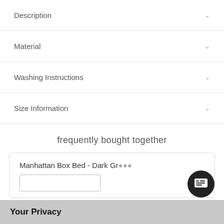Description
Material
Washing Instructions
Size Information
frequently bought together
Manhattan Box Bed - Dark Gr...
Your Privacy